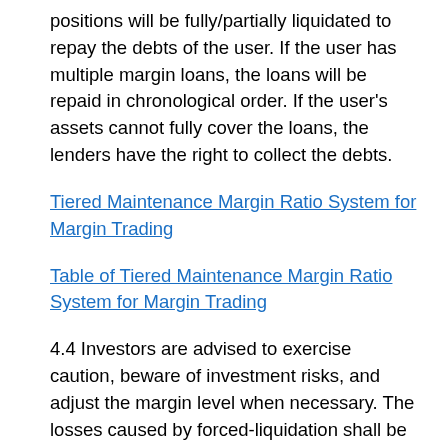positions will be fully/partially liquidated to repay the debts of the user. If the user has multiple margin loans, the loans will be repaid in chronological order. If the user's assets cannot fully cover the loans, the lenders have the right to collect the debts.
Tiered Maintenance Margin Ratio System for Margin Trading
Table of Tiered Maintenance Margin Ratio System for Margin Trading
4.4 Investors are advised to exercise caution, beware of investment risks, and adjust the margin level when necessary. The losses caused by forced-liquidation shall be borne by the investor solely.
4.5 We hold the right to manage the value of the borrowed tokens. When the total value of the borrowed tokens has exceeded the total loan amount limit which was formulated by us, we will cease the token loan services until the total